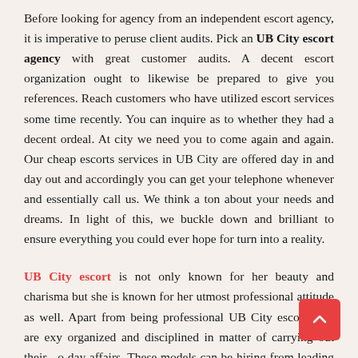Before looking for agency from an independent escort agency, it is imperative to peruse client audits. Pick an UB City escort agency with great customer audits. A decent escort organization ought to likewise be prepared to give you references. Reach customers who have utilized escort services some time recently. You can inquire as to whether they had a decent ordeal. At city we need you to come again and again. Our cheap escorts services in UB City are offered day in and day out and accordingly you can get your telephone whenever and essentially call us. We think a ton about your needs and dreams. In light of this, we buckle down and brilliant to ensure everything you could ever hope for turn into a reality.
UB City escort is not only known for her beauty and charisma but she is known for her utmost professional attitude as well. Apart from being professional UB City escort girls are extremely organized and disciplined in matter of carrying out their day to day affairs. These models can be hiring from leading UB City